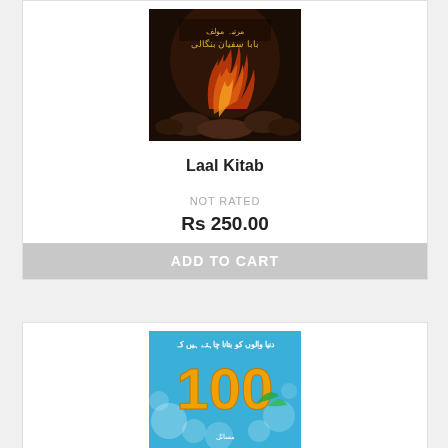[Figure (photo): Book cover of Laal Kitab - dark background with flames and Urdu text, author name Baba Safyan Bengali]
Laal Kitab
NOT RATED
Rs 250.00
ADD TO CART
[Figure (photo): Second book cover with blue background showing '100' in golden numbers with Urdu text]